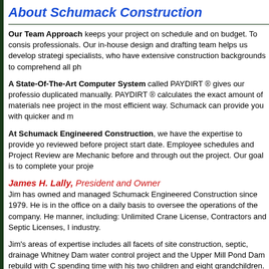About Schumack Construction
Our Team Approach keeps your project on schedule and on budget. To consist... professionals. Our in-house design and drafting team helps us develop strategi... specialists, who have extensive construction backgrounds to comprehend all ph...
A State-Of-The-Art Computer System called PAYDIRT ® gives our professio... duplicated manually. PAYDIRT ® calculates the exact amount of materials nee... project in the most efficient way. Schumack can provide you with quicker and m...
At Schumack Engineered Construction, we have the expertise to provide yo... reviewed before project start date. Employee schedules and Project Review are... Mechanic before and through out the project. Our goal is to complete your proje...
James H. Lally, President and Owner
Jim has owned and managed Schumack Engineered Construction since 1979. He is in the office on a daily basis to oversee the operations of the company. He... manner, including: Unlimited Crane License, Contractors and Septic Licenses, I... industry.
Jim's areas of expertise includes all facets of site construction, septic, drainage... Whitney Dam water control project and the Upper Mill Pond Dam rebuild with C... spending time with his two children and eight grandchildren. Jim is an avid boa...
[Figure (photo): Photo of James H. Lally]
Lally Named Killingworth Lions Club Citizen... February 18, 2012 - The Killingworth Lions Club presented to a citizen of Killingworth who has de... Lally was honored during the annual Lions Club the Lions Club noted that "James H. Lally has ge... improving the town of Killingworth.